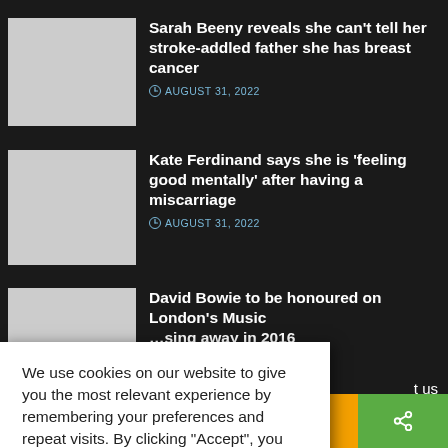Sarah Beeny reveals she can't tell her stroke-addled father she has breast cancer
AUGUST 31, 2022
Kate Ferdinand says she is 'feeling good mentally' after having a miscarriage
AUGUST 31, 2022
David Bowie to be honoured on London's Music … sing away in 2016
We use cookies on our website to give you the most relevant experience by remembering your preferences and repeat visits. By clicking "Accept", you consent to the use of ALL the cookies.
Do not sell my personal information.
Cookie Settings
Accept